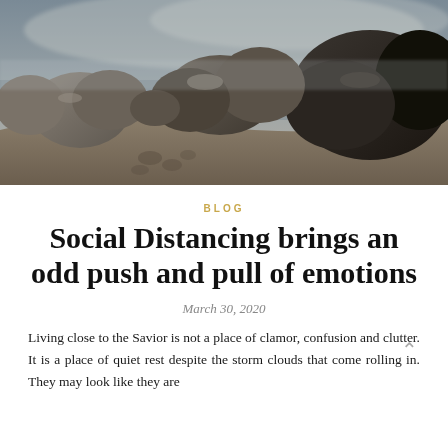[Figure (photo): Rocky beach scene with large boulders on sandy shore and misty/cloudy sky in the background]
BLOG
Social Distancing brings an odd push and pull of emotions
March 30, 2020
Living close to the Savior is not a place of clamor, confusion and clutter. It is a place of quiet rest despite the storm clouds that come rolling in. They may look like they are